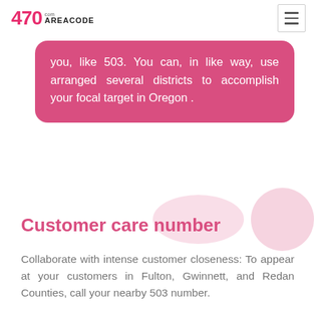470 AREACODE.com
you, like 503. You can, in like way, use arranged several districts to accomplish your focal target in Oregon .
Customer care number
Collaborate with intense customer closeness: To appear at your customers in Fulton, Gwinnett, and Redan Counties, call your nearby 503 number.